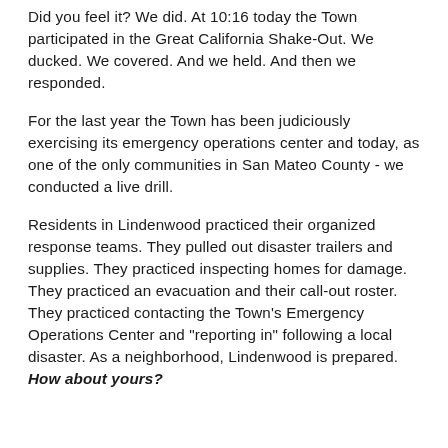Did you feel it? We did. At 10:16 today the Town participated in the Great California Shake-Out. We ducked. We covered. And we held. And then we responded.
For the last year the Town has been judiciously exercising its emergency operations center and today, as one of the only communities in San Mateo County - we conducted a live drill.
Residents in Lindenwood practiced their organized response teams. They pulled out disaster trailers and supplies. They practiced inspecting homes for damage. They practiced an evacuation and their call-out roster. They practiced contacting the Town's Emergency Operations Center and "reporting in" following a local disaster. As a neighborhood, Lindenwood is prepared. How about yours?